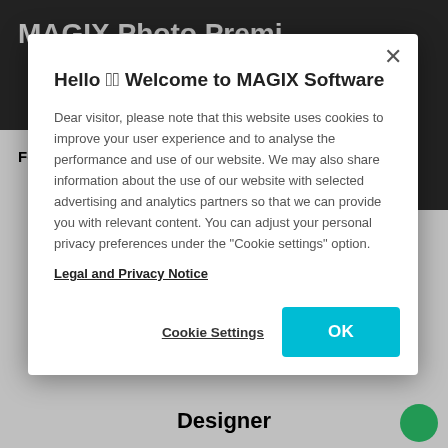MAGIX Photo Premi...
Features	Specifications
Hello 🔔 Welcome to MAGIX Software
Dear visitor, please note that this website uses cookies to improve your user experience and to analyse the performance and use of our website. We may also share information about the use of our website with selected advertising and analytics partners so that we can provide you with relevant content. You can adjust your personal privacy preferences under the "Cookie settings" option.
Legal and Privacy Notice
Cookie Settings
OK
Designer